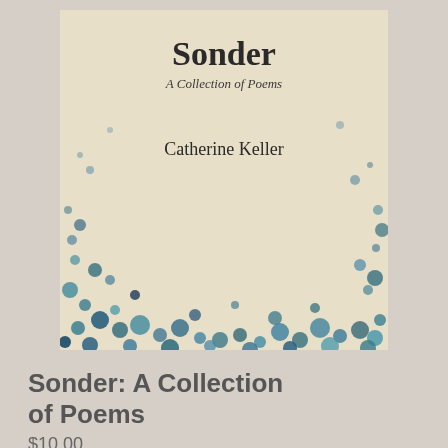[Figure (illustration): Book cover of 'Sonder: A Collection of Poems' by Catherine Keller. The cover shows a beige/cream background with scattered blue and teal paint splatter pattern. The title 'Sonder' appears at the top in bold serif font, with 'A Collection of Poems' in smaller italic text beneath it, and the author name 'Catherine Keller' in the middle.]
Sonder: A Collection of Poems
$10.00